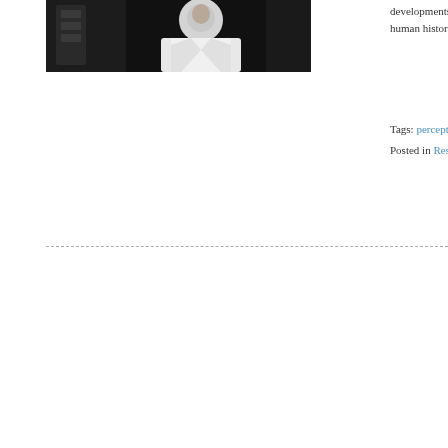[Figure (photo): Black and white photo of a person in a white lab coat or professional attire, seated, partially visible]
developments. The teaching pro human history, has not become i
Tags: perceptions, research, self Posted in Research, Teaching | N